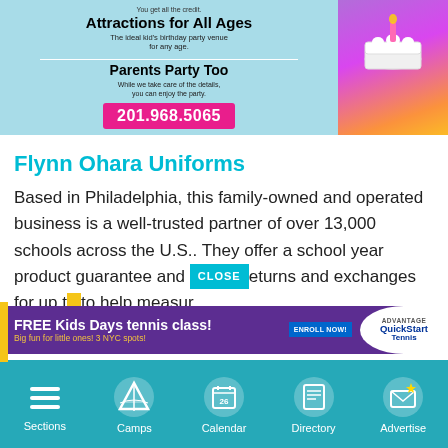[Figure (infographic): Advertisement banner with light blue background. Text: 'Attractions for All Ages - The ideal kid's birthday party venue for any age.' and 'Parents Party Too - While we take care of the details, you can enjoy the party.' Phone number 201.968.5065 in pink button. Right side shows colorful birthday party image.]
Flynn Ohara Uniforms
Based in Philadelphia, this family-owned and operated business is a well-trusted partner of over 13,000 schools across the U.S.. They offer a school year product guarantee and [CLOSE] returns and exchanges for up to help measur... mount
[Figure (infographic): Purple ad banner: FREE Kids Days tennis class! Big fun for little ones! 3 NYC spots! ENROLL NOW! Advantage QuickStart Tennis logo on right.]
Sections   Camps   Calendar   Directory   Advertise